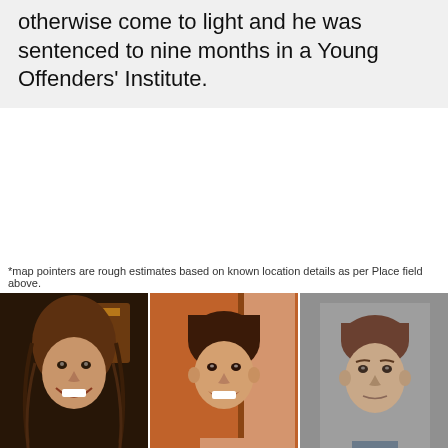otherwise come to light and he was sentenced to nine months in a Young Offenders' Institute.
*map pointers are rough estimates based on known location details as per Place field above.
[Figure (photo): Three photographs of young men shown side by side. Left: smiling young man with long wavy hair in a dark bar setting. Middle: smiling young man with dark bowl-cut hair against an orange/tan wall. Right: mugshot-style photo of a young man with very short hair against a grey background.]